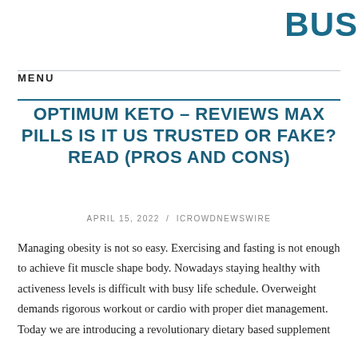BUS
MENU
OPTIMUM KETO – REVIEWS MAX PILLS IS IT US TRUSTED OR FAKE? READ (PROS AND CONS)
APRIL 15, 2022 / ICROWDNEWSWIRE
Managing obesity is not so easy. Exercising and fasting is not enough to achieve fit muscle shape body. Nowadays staying healthy with activeness levels is difficult with busy life schedule. Overweight demands rigorous workout or cardio with proper diet management. Today we are introducing a revolutionary dietary based supplement